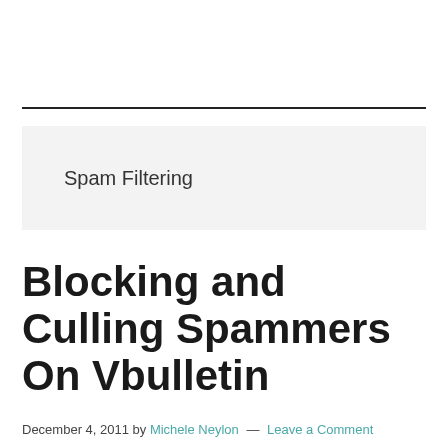Spam Filtering
Blocking and Culling Spammers On Vbulletin
December 4, 2011 by Michele Neylon — Leave a Comment